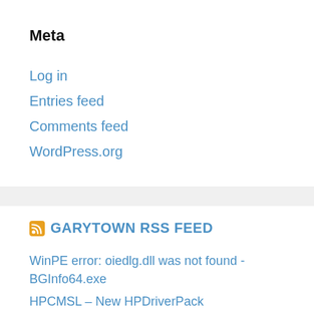Meta
Log in
Entries feed
Comments feed
WordPress.org
GARYTOWN RSS FEED
WinPE error: oiedlg.dll was not found - BGInfo64.exe
HPCMSL – New HPDriverPack